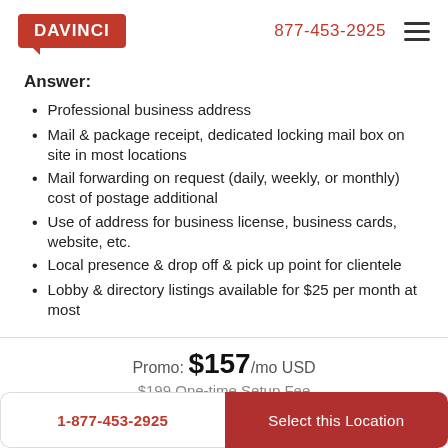DAVINCI | 877-453-2925
Answer:
Professional business address
Mail & package receipt, dedicated locking mail box on site in most locations
Mail forwarding on request (daily, weekly, or monthly) cost of postage additional
Use of address for business license, business cards, website, etc.
Local presence & drop off & pick up point for clientele
Lobby & directory listings available for $25 per month at most
Promo: $157/mo USD
$199 One-time Setup Fee
1-877-453-2925
Select this Location